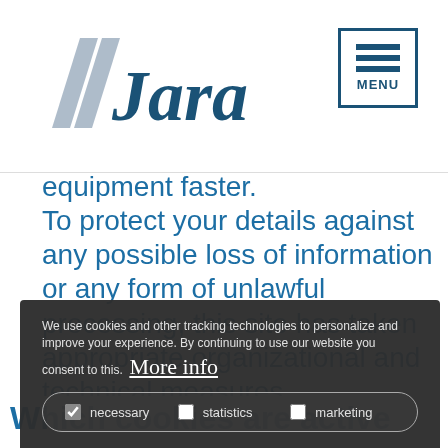[Figure (logo): Jara company logo with stylized double-slash mark and bold italic text 'Jara']
equipment faster.
To protect your details against any possible loss of information or any form of unlawful processing, this site has taken appropriate organizational and technical measures.
For further information see info Privacy Policy.
We use cookies and other tracking technologies to personalize and improve your experience. By continuing to use our website you consent to this. More info
necessary  statistics  marketing
allow all cookies
allow selection  decline all
Which cookies are active